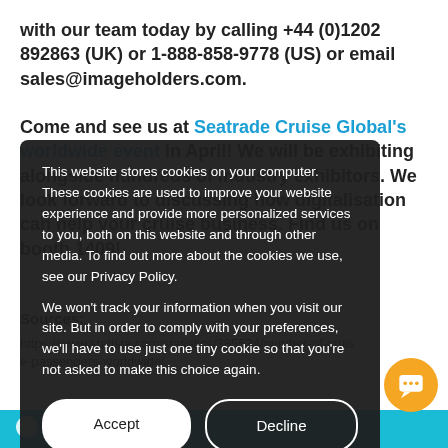with our team today by calling +44 (0)1202 892863 (UK) or 1-888-858-9778 (US) or email sales@imageholders.com.
Come and see us at Seatrade Cruise Global's worldwide event in April! We will be exhibiting alongside hundreds of industry exhibitors. We look forward to discussing how digitalisation can help your cruise business. Find us on booth 1409!
Sources:
https://www.statista.com/statistics/385534/number-cruise-passengers-worldwide/
Cookie popup: This website stores cookies on your computer. These cookies are used to improve your website experience and provide more personalized services to you, both on this website and through other media. To find out more about the cookies we use, see our Privacy Policy. We won't track your information when you visit our site. But in order to comply with your preferences, we'll have to use just one tiny cookie so that you're not asked to make this choice again. [Accept] [Decline]